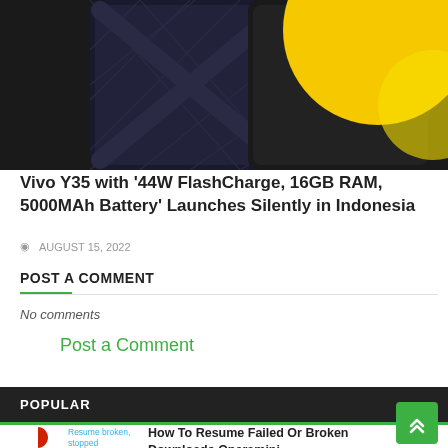[Figure (photo): Two smartphones side by side - one with dark quilted pattern back, one with yellow/orange design, both with dark bezels, partially cropped at top]
Vivo Y35 with '44W FlashCharge, 16GB RAM, 5000MAh Battery' Launches Silently in Indonesia
AUGUST 15, 2022
POST A COMMENT
No comments
Post a Comment
POPULAR
[Figure (illustration): Red crescent moon shape icon on left side]
Resume broken, stopped
How To Resume Failed Or Broken Downloads Operamini